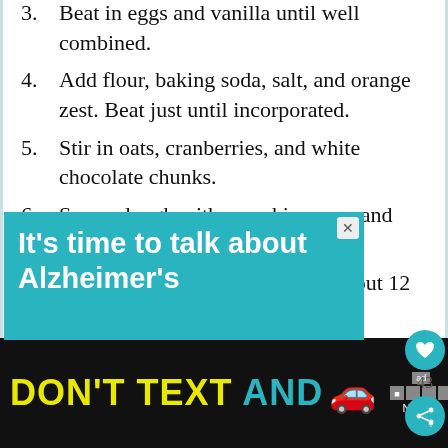3. Beat in eggs and vanilla until well combined.
4. Add flour, baking soda, salt, and orange zest. Beat just until incorporated.
5. Stir in oats, cranberries, and white chocolate chunks.
6. Scoop dough with a cookie scoop and place on baking sheets.
7. Bake until light golden brown, about 12 minutes.
8. Allow cookies to rest on baking sheet for one minute, then move to a wire cooling rack to cool completely.
9. Store cooled cookies in a sealed container.
[Figure (screenshot): Alzheimer's awareness advertisement banner with teal background]
[Figure (screenshot): DON'T TEXT AND drive NHTSA advertisement on black background with car emoji]